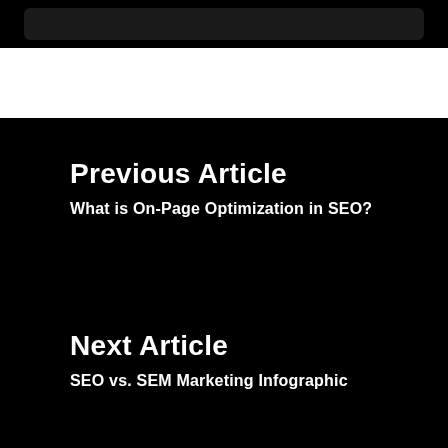Previous Article
What is On-Page Optimization in SEO?
Next Article
SEO vs. SEM Marketing Infographic